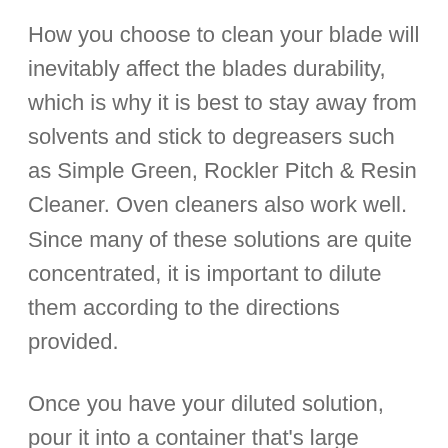How you choose to clean your blade will inevitably affect the blades durability, which is why it is best to stay away from solvents and stick to degreasers such as Simple Green, Rockler Pitch & Resin Cleaner. Oven cleaners also work well. Since many of these solutions are quite concentrated, it is important to dilute them according to the directions provided.
Once you have your diluted solution, pour it into a container that's large enough for your blade (even kitchen Tupperware works for this step). This soaking process takes at least five minutes depending on the amount of resin, so fire up a YouTube video or two in the interim.